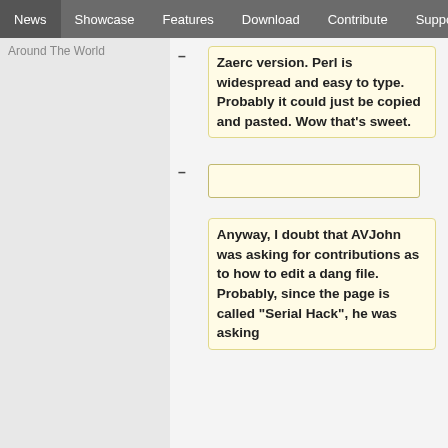News | Showcase | Features | Download | Contribute | Support
Around The World
– Zaerc version. Perl is widespread and easy to type. Probably it could just be copied and pasted. Wow that's sweet.
–
Anyway, I doubt that AVJohn was asking for contributions as to how to edit a dang file. Probably, since the page is called "Serial Hack", he was asking